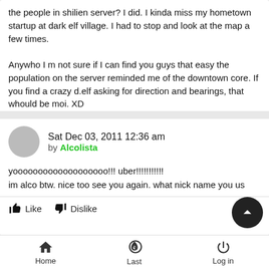the people in shilien server? I did. I kinda miss my hometown startup at dark elf village. I had to stop and look at the map a few times.

Anywho I m not sure if I can find you guys that easy the population on the server reminded me of the downtown core. If you find a crazy d.elf asking for direction and bearings, that whould be moi. XD
Like   Dislike
Sat Dec 03, 2011 12:36 am by Alcolista
yooooooooooooooooooo!!! uber!!!!!!!!!!!
im alco btw. nice too see you again. what nick name you us
Like   Dislike
Home   Last   Log in